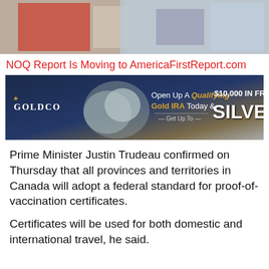[Figure (photo): Top portion of a photo showing people at a desk or counter, one wearing a red vest]
NOQ Report Is Moving to AmericaFirstReport.com
[Figure (infographic): Goldco advertisement: Open Up A Qualifying Gold IRA Today & Get Up To $10,000 IN FREE SILVER]
Prime Minister Justin Trudeau confirmed on Thursday that all provinces and territories in Canada will adopt a federal standard for proof-of-vaccination certificates.
Certificates will be used for both domestic and international travel, he said.